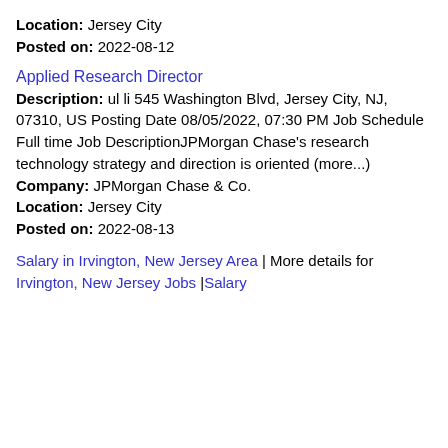Location: Jersey City
Posted on: 2022-08-12
Applied Research Director
Description: ul li 545 Washington Blvd, Jersey City, NJ, 07310, US Posting Date 08/05/2022, 07:30 PM Job Schedule Full time Job DescriptionJPMorgan Chase's research technology strategy and direction is oriented (more...)
Company: JPMorgan Chase & Co.
Location: Jersey City
Posted on: 2022-08-13
Salary in Irvington, New Jersey Area | More details for Irvington, New Jersey Jobs |Salary